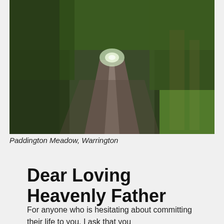[Figure (photo): A tree-lined path forming a tunnel of green foliage, with a bright opening visible at the far end. The path is paved and flanked by tall hedges and trees. Located at Paddington Meadow, Warrington.]
Paddington Meadow, Warrington
Dear Loving Heavenly Father
For anyone who is hesitating about committing their life to you, I ask that you